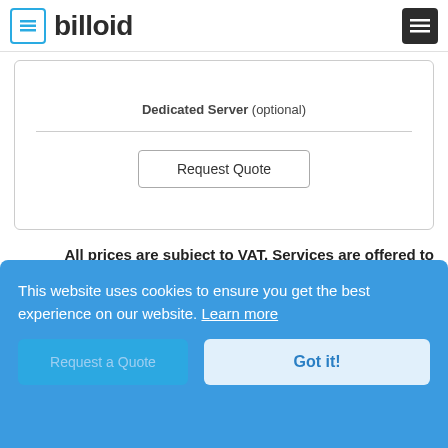billoid
Dedicated Server (optional)
Request Quote
All prices are subject to VAT. Services are offered to business customers only.
This website uses cookies to ensure you get the best experience on our website. Learn more
Got it!